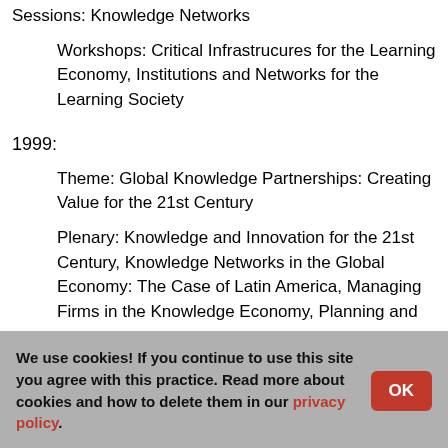Sessions: Knowledge Networks
Workshops: Critical Infrastrucures for the Learning Economy, Institutions and Networks for the Learning Society
1999:
Theme: Global Knowledge Partnerships: Creating Value for the 21st Century
Plenary: Knowledge and Innovation for the 21st Century, Knowledge Networks in the Global Economy: The Case of Latin America, Managing Firms in the Knowledge Economy, Planning and
We use cookies! If you continue to use this site you agree with this practice. Read more about cookies and how to delete them in our privacy policy.